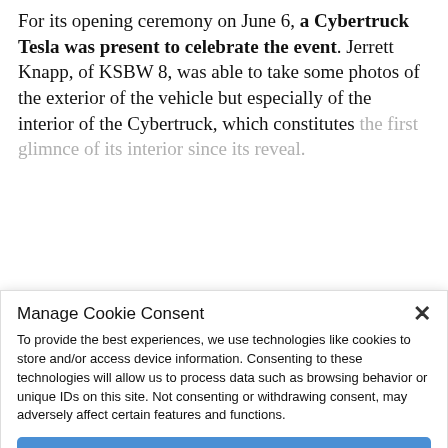For its opening ceremony on June 6, a Cybertruck Tesla was present to celebrate the event. Jerrett Knapp, of KSBW 8, was able to take some photos of the exterior of the vehicle but especially of the interior of the Cybertruck, which constitutes the first glim[mer of its interior since its reveal.
Also real Tesla Cybertruck photos of the new prototype surface
We finally know what the interior of the Cybertruck looks like
Manage Cookie Consent
To provide the best experiences, we use technologies like cookies to store and/or access device information. Consenting to these technologies will allow us to process data such as browsing behavior or unique IDs on this site. Not consenting or withdrawing consent, may adversely affect certain features and functions.
Accept
Deny
DMCA  Cookie Policy  Privacy Policy